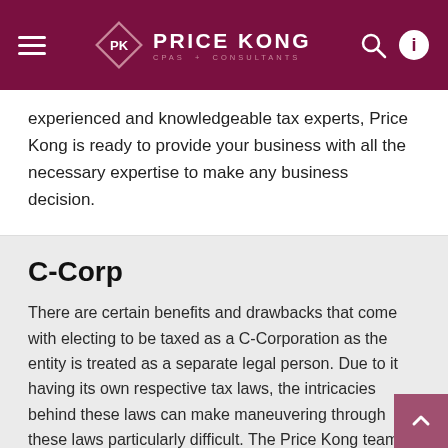PRICE KONG CPAs + CONSULTANTS
experienced and knowledgeable tax experts, Price Kong is ready to provide your business with all the necessary expertise to make any business decision.
C-Corp
There are certain benefits and drawbacks that come with electing to be taxed as a C-Corporation as the entity is treated as a separate legal person. Due to it having its own respective tax laws, the intricacies behind these laws can make maneuvering through these laws particularly difficult. The Price Kong team has the expertise to assist business owners in evaluating these intricacies so as to provide the